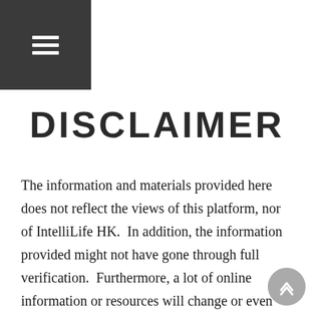≡
DISCLAIMER
The information and materials provided here does not reflect the views of this platform, nor of IntelliLife HK.  In addition, the information provided might not have gone through full verification.  Furthermore, a lot of online information or resources will change or even disappear from time to time without having us being notified.  We advise the readers or users to make their own verifications and judgment.  It is not the intention of the authors, nor of this platform, nor IntelliLife HK to publish inaccurate information which is not intended.